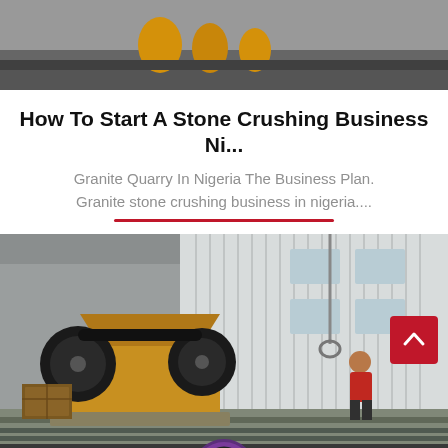[Figure (photo): Top cropped industrial/machinery photo showing heavy equipment with yellow/gold components on dark background]
How To Start A Stone Crushing Business Ni...
Granite Quarry In Nigeria The Business Plan. Granite stone crushing business in nigeria....
[Figure (photo): Industrial photo of a jaw crusher machine (gold/yellow colored) on a flatbed rail car, with a worker in red shirt standing in background, gray corrugated metal building behind]
Leave Message
Chat Online